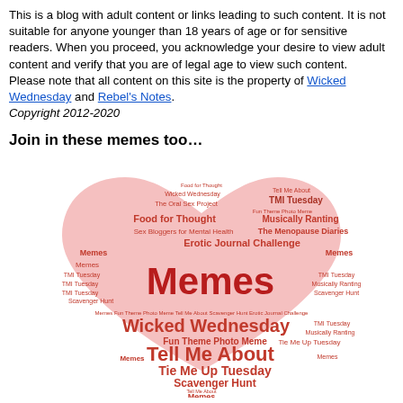This is a blog with adult content or links leading to such content. It is not suitable for anyone younger than 18 years of age or for sensitive readers. When you proceed, you acknowledge your desire to view adult content and verify that you are of legal age to view such content.
Please note that all content on this site is the property of Wicked Wednesday and Rebel's Notes.
Copyright 2012-2020
Join in these memes too…
[Figure (illustration): A heart-shaped word cloud in red tones featuring meme names including Memes, Wicked Wednesday, Tell Me About, Tie Me Up Tuesday, Scavenger Hunt, TMI Tuesday, Erotic Journal Challenge, Food for Thought, Musically Ranting, The Menopause Diaries, Fun Theme Photo Meme, The Oral Sex Project, Sex Bloggers for Mental Health, and others.]